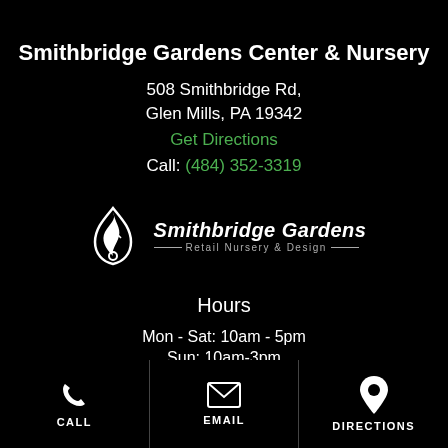Smithbridge Gardens Center & Nursery
508 Smithbridge Rd,
Glen Mills, PA 19342
Get Directions
Call: (484) 352-3319
[Figure (logo): Smithbridge Gardens logo with a flame/leaf droplet icon and text 'Smithbridge Gardens Retail Nursery & Design']
Hours
Mon - Sat: 10am - 5pm
Sun: 10am-3pm
CALL | EMAIL | DIRECTIONS